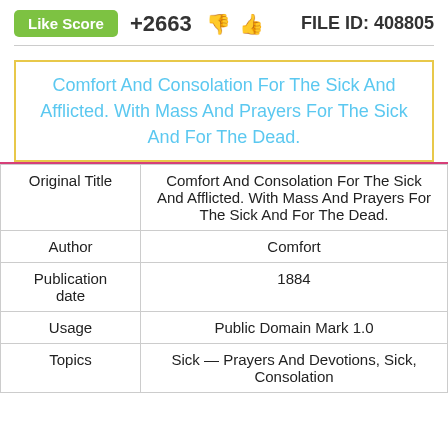Like Score +2663  FILE ID: 408805
Comfort And Consolation For The Sick And Afflicted. With Mass And Prayers For The Sick And For The Dead.
| Field | Value |
| --- | --- |
| Original Title | Comfort And Consolation For The Sick And Afflicted. With Mass And Prayers For The Sick And For The Dead. |
| Author | Comfort |
| Publication date | 1884 |
| Usage | Public Domain Mark 1.0 |
| Topics | Sick — Prayers And Devotions, Sick, Consolation |